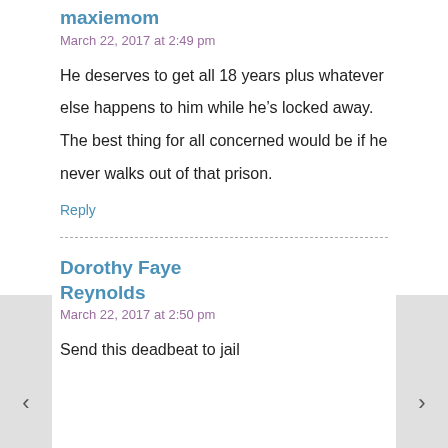maxiemom
March 22, 2017 at 2:49 pm
He deserves to get all 18 years plus whatever else happens to him while he’s locked away. The best thing for all concerned would be if he never walks out of that prison.
Reply
Dorothy Faye Reynolds
March 22, 2017 at 2:50 pm
Send this deadbeat to jail